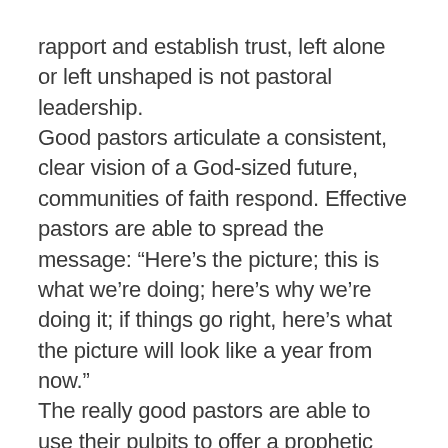rapport and establish trust, left alone or left unshaped is not pastoral leadership.
Good pastors articulate a consistent, clear vision of a God-sized future, communities of faith respond. Effective pastors are able to spread the message: “Here’s the picture; this is what we’re doing; here’s why we’re doing it; if things go right, here’s what the picture will look like a year from now.”
The really good pastors are able to use their pulpits to offer a prophetic call to congregations to follow the narrative of Jesus without feeling threatened by a low trust culture.